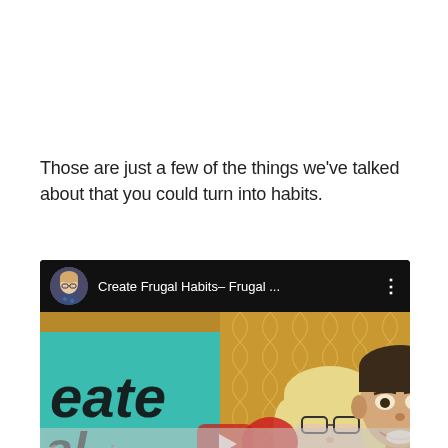Those are just a few of the things we've talked about that you could turn into habits.
[Figure (screenshot): YouTube video thumbnail showing 'Create Frugal Habits– Frugal ...' with channel avatar of a woman with glasses, and a photo of a man and woman holding a teal sign with 'eate' text visible, with YouTube play button overlay and partial 'frugal' text in the bottom strip.]